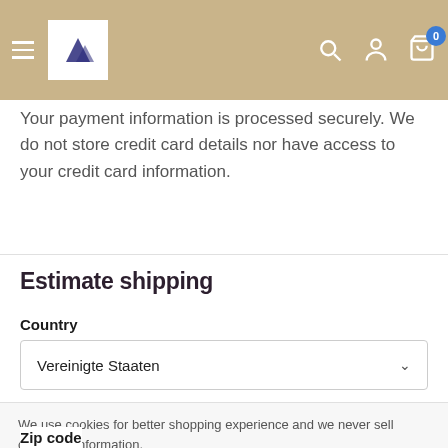Your payment information is processed securely. We do not store credit card details nor have access to your credit card information.
Estimate shipping
Country
Vereinigte Staaten
We use cookies for better shopping experience and we never sell customer information.
Zip code